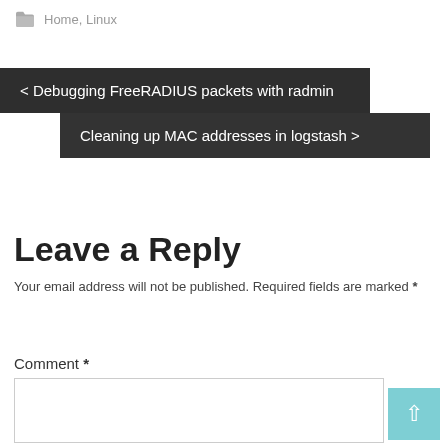Home, Linux
< Debugging FreeRADIUS packets with radmin
Cleaning up MAC addresses in logstash >
Leave a Reply
Your email address will not be published. Required fields are marked *
Comment *